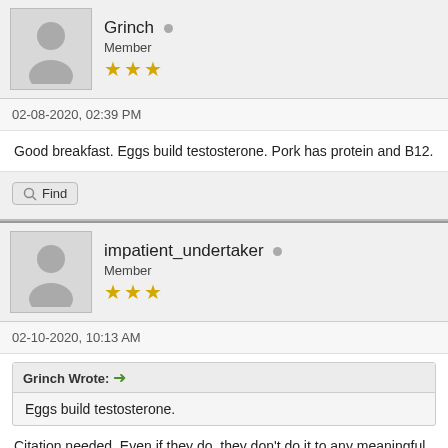Grinch — Member ★★★
02-08-2020, 02:39 PM
Good breakfast. Eggs build testosterone. Pork has protein and B12.
Find
impatient_undertaker — Member ★★★
02-10-2020, 10:13 AM
Grinch Wrote: → Eggs build testosterone.
Citation needed. Even if they do, they don't do it to any meaningful de
Grinch Wrote: →